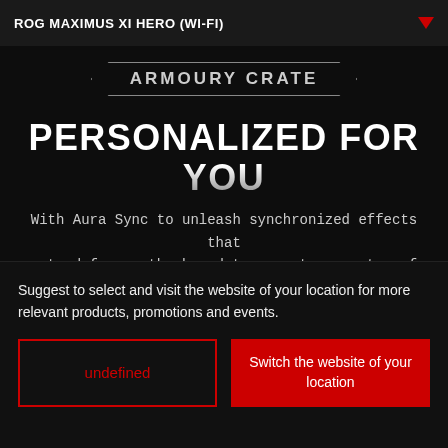ROG MAXIMUS XI HERO (WI-FI)
[Figure (logo): Armoury Crate hexagonal banner logo]
PERSONALIZED FOR YOU
With Aura Sync to unleash synchronized effects that extend from motherboard to a vast ecosystem of
Suggest to select and visit the website of your location for more relevant products, promotions and events.
undefined
Switch the website of your location